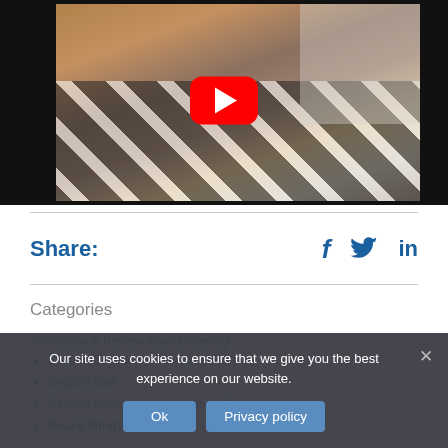[Figure (screenshot): YouTube video thumbnail showing a woman in a chevron-patterned top with a red YouTube play button overlay in the center, sitting in a home/office setting.]
Share: f (Facebook) 🐦 (Twitter) in (LinkedIn)
Categories
Architectural Review Board Meeting
Bellport Environmental Commission
Bellport Golf
Bellport Historical Preservation Commission
Board Minutes
Our site uses cookies to ensure that we give you the best experience on our website.
Ok | Privacy policy